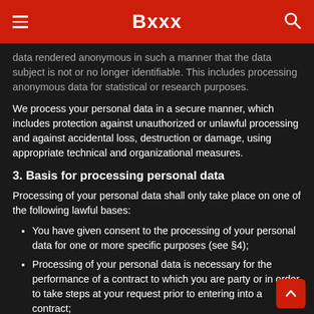Bxxx
data rendered anonymous in such a manner that the data subject is not or no longer identifiable. This includes processing anonymous data for statistical or research purposes.
We process your personal data in a secure manner, which includes protection against unauthorized or unlawful processing and against accidental loss, destruction or damage, using appropriate technical and organizational measures.
3. Basis for processing personal data
Processing of your personal data shall only take place on one of the following lawful bases:
You have given consent to the processing of your personal data for one or more specific purposes (see §4);
Processing of your personal data is necessary for the performance of a contract to which you are party or in order to take steps at your request prior to entering into a contract;
Processing is necessary for compliance with a legal...